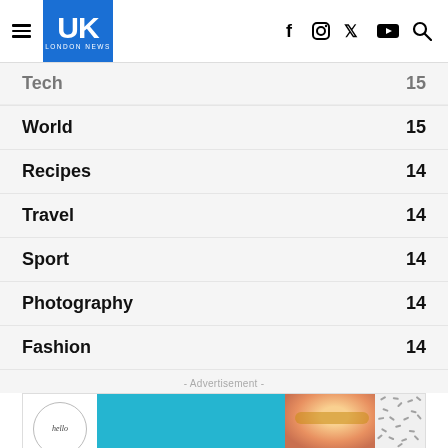UK London News
World 15
Recipes 14
Travel 14
Sport 14
Photography 14
Fashion 14
- Advertisement -
[Figure (illustration): Advertisement banner showing a fashion/business magazine graphic with woman in sunglasses, 'BUSINESS' text overlay on teal background, and decorative pattern]